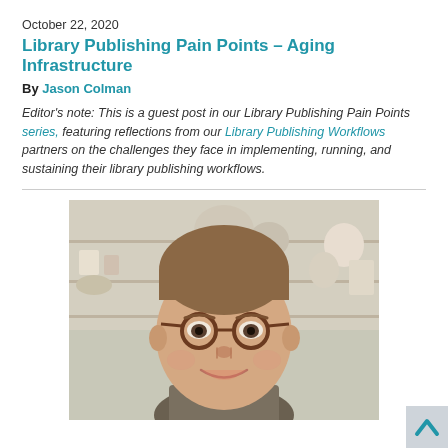October 22, 2020
Library Publishing Pain Points – Aging Infrastructure
By Jason Colman
Editor's note: This is a guest post in our Library Publishing Pain Points series, featuring reflections from our Library Publishing Workflows partners on the challenges they face in implementing, running, and sustaining their library publishing workflows.
[Figure (photo): Headshot of Jason Colman, a man with short brown hair wearing round tortoiseshell glasses and a blazer, smiling at the camera. Background shows shelves with various items.]